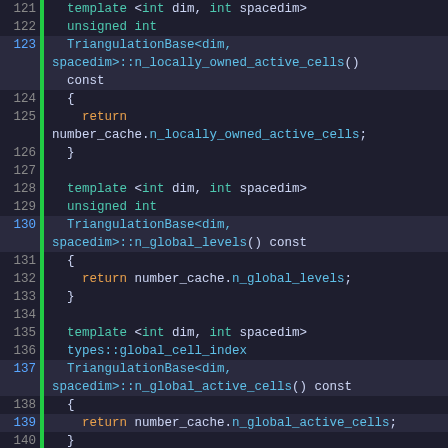[Figure (screenshot): Code listing showing C++ template function definitions for TriangulationBase class methods: n_locally_owned_active_cells, n_global_levels, n_global_active_cells, and get_communicator, lines 121-148]